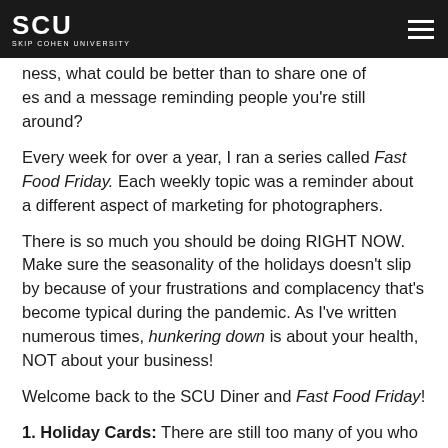SCU Skip Cohen University
ness, what could be better than to share one of es and a message reminding people you're still around?
Every week for over a year, I ran a series called Fast Food Friday. Each weekly topic was a reminder about a different aspect of marketing for photographers.
There is so much you should be doing RIGHT NOW. Make sure the seasonality of the holidays doesn't slip by because of your frustrations and complacency that's become typical during the pandemic. As I've written numerous times, hunkering down is about your health, NOT about your business!
Welcome back to the SCU Diner and Fast Food Friday!
1. Holiday Cards: There are still too many of you who miss the opportunity to send out a holiday card featuring